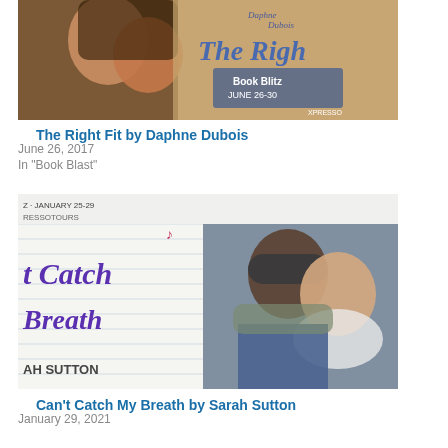[Figure (photo): Book cover/promo image for 'The Right Fit by Daphne Dubois' - Book Blitz June 26-30, shows two people close together, warm tones, XPRESSO branding]
The Right Fit by Daphne Dubois
June 26, 2017
In "Book Blast"
[Figure (photo): Book cover/promo image for 'Can't Catch My Breath by Sarah Sutton' - January 25-29, XPRESSO Tours, shows two people embracing in winter clothing, purple handwritten title on lined paper background]
Can't Catch My Breath by Sarah Sutton
January 29, 2021